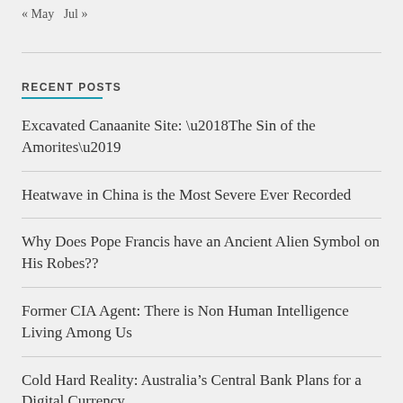« May  Jul »
RECENT POSTS
Excavated Canaanite Site: ‘The Sin of the Amorites’
Heatwave in China is the Most Severe Ever Recorded
Why Does Pope Francis have an Ancient Alien Symbol on His Robes??
Former CIA Agent: There is Non Human Intelligence Living Among Us
Cold Hard Reality: Australia’s Central Bank Plans for a Digital Currency
World Economic Forum Says ‘It’s time’ to start Microchipping